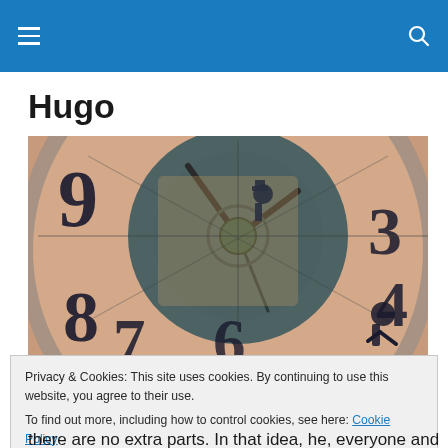Hugo
Hugo
[Figure (photo): Close-up of a large ornate clock face with roman numerals and gear mechanisms visible, with a person climbing on the clock and another figure visible through the clock face interior.]
Privacy & Cookies: This site uses cookies. By continuing to use this website, you agree to their use.
To find out more, including how to control cookies, see here: Cookie Policy
there are no extra parts. In that idea, he, everyone and